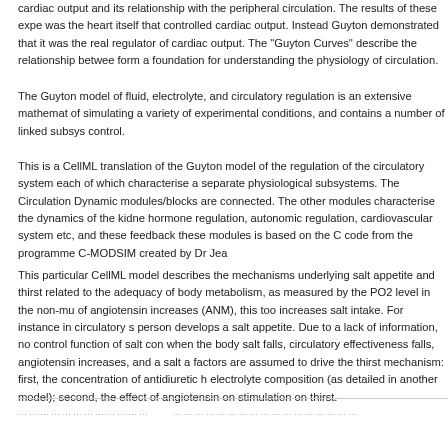cardiac output and its relationship with the peripheral circulation. The results of these expe was the heart itself that controlled cardiac output. Instead Guyton demonstrated that it was the real regulator of cardiac output. The "Guyton Curves" describe the relationship betwee form a foundation for understanding the physiology of circulation.
The Guyton model of fluid, electrolyte, and circulatory regulation is an extensive mathemat of simulating a variety of experimental conditions, and contains a number of linked subsys control.
This is a CellML translation of the Guyton model of the regulation of the circulatory system each of which characterise a separate physiological subsystems. The Circulation Dynamic modules/blocks are connected. The other modules characterise the dynamics of the kidne hormone regulation, autonomic regulation, cardiovascular system etc, and these feedback these modules is based on the C code from the programme C-MODSIM created by Dr Jea
This particular CellML model describes the mechanisms underlying salt appetite and thirst related to the adequacy of body metabolism, as measured by the PO2 level in the non-mu of angiotensin increases (ANM), this too increases salt intake. For instance in circulatory s person develops a salt appetite. Due to a lack of information, no control function of salt con when the body salt falls, circulatory effectiveness falls, angiotensin increases, and a salt a factors are assumed to drive the thirst mechanism: first, the concentration of antidiuretic h electrolyte composition (as detailed in another model); second, the effect of angiotensin on stimulation on thirst.